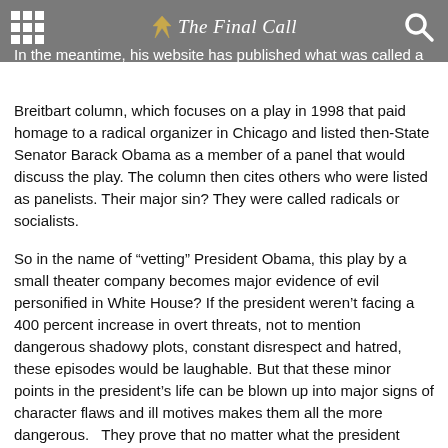The Final Call
In the meantime, his website has published what was called a final Breitbart column, which focuses on a play in 1998 that paid homage to a radical organizer in Chicago and listed then-State Senator Barack Obama as a member of a panel that would discuss the play. The column then cites others who were listed as panelists. Their major sin? They were called radicals or socialists.
So in the name of “vetting” President Obama, this play by a small theater company becomes major evidence of evil personified in White House? If the president weren’t facing a 400 percent increase in overt threats, not to mention dangerous shadowy plots, constant disrespect and hatred, these episodes would be laughable. But that these minor points in the president’s life can be blown up into major signs of character flaws and ill motives makes them all the more dangerous.   They prove that no matter what the president does, or what the truth is, those who are determined to derail and destroy him will stop at nothing to accomplish their goal–regardless of the price that he pays or the price that the nation pays.